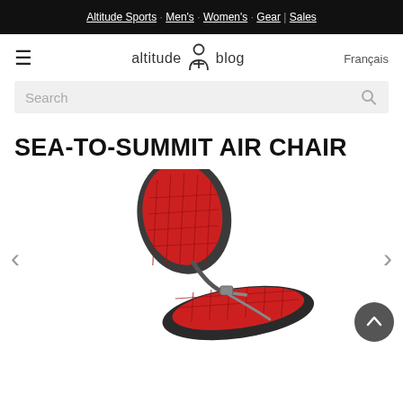Altitude Sports · Men's · Women's · Gear | Sales
altitude blog  Français
Search
SEA-TO-SUMMIT AIR CHAIR
[Figure (photo): Red and dark gray Sea-to-Summit Air Chair inflatable camping chair shown on white background, with red quilted seat and backrest and dark gray structural frame with straps.]